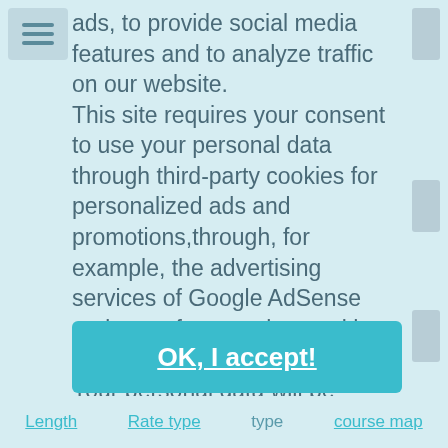ads, to provide social media features and to analyze traffic on our website.
This site requires your consent to use your personal data through third-party cookies for personalized ads and promotions,through, for example, the advertising services of Google AdSense and to perform analyzes with Google Analytics.
Your personal data will be processed by third-party suppliers and the information collected by your device can be shared with them, viewed and stored by them. Click here for more information
Click here for more information
OK, I accept!
Length     Rate type     type     course map